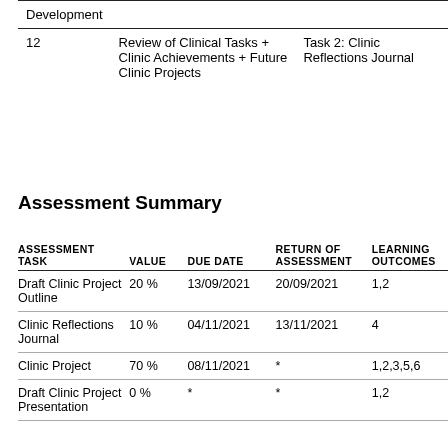|  | Topic | Preparation |
| --- | --- | --- |
| 12 | Review of Clinical Tasks + Clinic Achievements + Future Clinic Projects | Task 2: Clinic Reflections Journal |
Assessment Summary
| ASSESSMENT TASK | VALUE | DUE DATE | RETURN OF ASSESSMENT | LEARNING OUTCOMES |
| --- | --- | --- | --- | --- |
| Draft Clinic Project Outline | 20 % | 13/09/2021 | 20/09/2021 | 1,2 |
| Clinic Reflections Journal | 10 % | 04/11/2021 | 13/11/2021 | 4 |
| Clinic Project | 70 % | 08/11/2021 | * | 1,2,3,5,6 |
| Draft Clinic Project Presentation | 0 % | * | * | 1,2 |